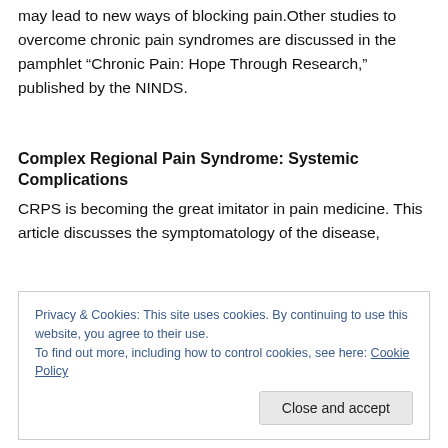may lead to new ways of blocking pain.Other studies to overcome chronic pain syndromes are discussed in the pamphlet “Chronic Pain: Hope Through Research,” published by the NINDS.
Complex Regional Pain Syndrome: Systemic Complications
CRPS is becoming the great imitator in pain medicine. This article discusses the symptomatology of the disease,
Privacy & Cookies: This site uses cookies. By continuing to use this website, you agree to their use.
To find out more, including how to control cookies, see here: Cookie Policy